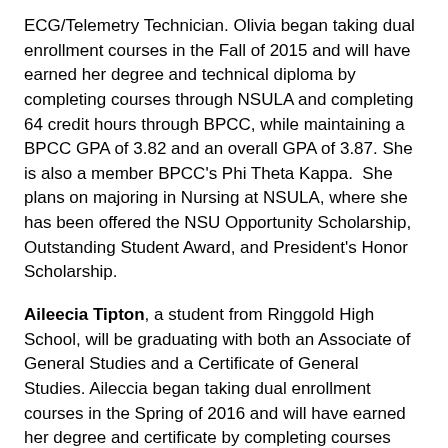ECG/Telemetry Technician. Olivia began taking dual enrollment courses in the Fall of 2015 and will have earned her degree and technical diploma by completing courses through NSULA and completing 64 credit hours through BPCC, while maintaining a BPCC GPA of 3.82 and an overall GPA of 3.87. She is also a member BPCC's Phi Theta Kappa. She plans on majoring in Nursing at NSULA, where she has been offered the NSU Opportunity Scholarship, Outstanding Student Award, and President's Honor Scholarship.
Aileecia Tipton, a student from Ringgold High School, will be graduating with both an Associate of General Studies and a Certificate of General Studies. Aileccia began taking dual enrollment courses in the Spring of 2016 and will have earned her degree and certificate by completing courses through NSULA and completing 40 credit hours through BPCC, while maintaining a BPCC GPA of 3.675 and an overall GPA of 3.688. She plans on majoring in Criminal Justice at NSULA, where she has been offered the NSU Award, NSU Opportunity Scholarship, and President's Honor Scholarship.